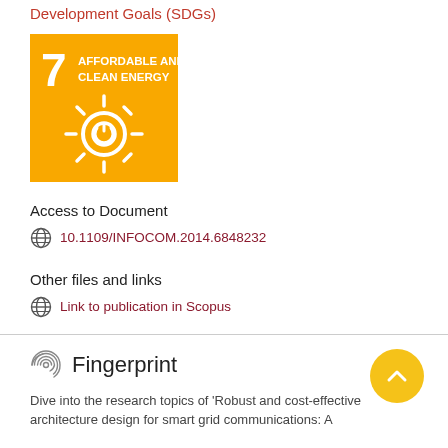Development Goals (SDGs)
[Figure (illustration): UN SDG 7 icon: orange/yellow square with number 7 and text AFFORDABLE AND CLEAN ENERGY, with a sun power symbol]
Access to Document
10.1109/INFOCOM.2014.6848232
Other files and links
Link to publication in Scopus
Fingerprint
Dive into the research topics of 'Robust and cost-effective architecture design for smart grid communications: A